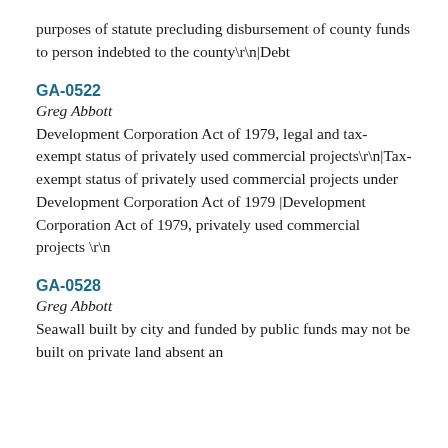purposes of statute precluding disbursement of county funds to person indebted to the county\r\n|Debt
GA-0522
Greg Abbott
Development Corporation Act of 1979, legal and tax-exempt status of privately used commercial projects\r\n|Tax-exempt status of privately used commercial projects under Development Corporation Act of 1979 |Development Corporation Act of 1979, privately used commercial projects \r\n
GA-0528
Greg Abbott
Seawall built by city and funded by public funds may not be built on private land absent an